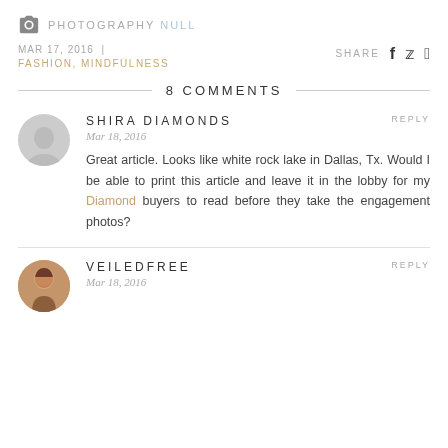PHOTOGRAPHY NULL
MAR 17, 2016 | FASHION, MINDFULNESS
SHARE
8 COMMENTS
SHIRA DIAMONDS
Mar 18, 2016
REPLY
Great article. Looks like white rock lake in Dallas, Tx. Would I be able to print this article and leave it in the lobby for my Diamond buyers to read before they take the engagement photos?
VEILEDFREE
Mar 18, 2016
REPLY